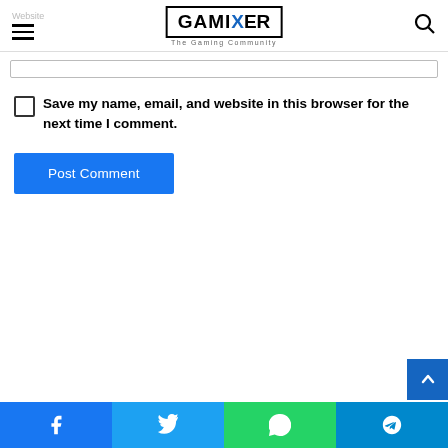GAMIXER — The Gaming Community
Save my name, email, and website in this browser for the next time I comment.
Post Comment
Facebook | Twitter | WhatsApp | Telegram